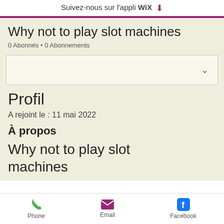Suivez-nous sur l'appli WiX ⬇
Why not to play slot machines
0 Abonnés • 0 Abonnements
Profil
A rejoint le : 11 mai 2022
À propos
Why not to play slot machines
Phone   Email   Facebook